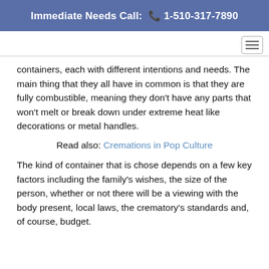Immediate Needs Call: 📞 1-510-317-7890
containers, each with different intentions and needs. The main thing that they all have in common is that they are fully combustible, meaning they don't have any parts that won't melt or break down under extreme heat like decorations or metal handles.
Read also: Cremations in Pop Culture
The kind of container that is chose depends on a few key factors including the family's wishes, the size of the person, whether or not there will be a viewing with the body present, local laws, the crematory's standards and, of course, budget.